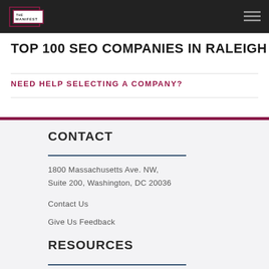THE MANIFEST
TOP 100 SEO COMPANIES IN RALEIGH
NEED HELP SELECTING A COMPANY?
CONTACT
1800 Massachusetts Ave. NW, Suite 200, Washington, DC 20036
Contact Us
Give Us Feedback
RESOURCES